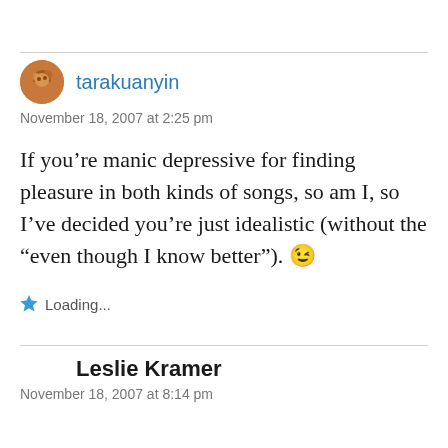tarakuanyin
November 18, 2007 at 2:25 pm
If you’re manic depressive for finding pleasure in both kinds of songs, so am I, so I’ve decided you’re just idealistic (without the “even though I know better”). 😉
Loading...
Leslie Kramer
November 18, 2007 at 8:14 pm